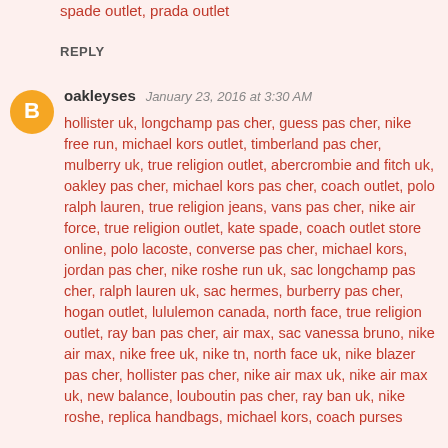spade outlet, prada outlet
REPLY
[Figure (logo): Orange circle with white letter B blogger avatar icon]
oakleyses  January 23, 2016 at 3:30 AM
hollister uk, longchamp pas cher, guess pas cher, nike free run, michael kors outlet, timberland pas cher, mulberry uk, true religion outlet, abercrombie and fitch uk, oakley pas cher, michael kors pas cher, coach outlet, polo ralph lauren, true religion jeans, vans pas cher, nike air force, true religion outlet, kate spade, coach outlet store online, polo lacoste, converse pas cher, michael kors, jordan pas cher, nike roshe run uk, sac longchamp pas cher, ralph lauren uk, sac hermes, burberry pas cher, hogan outlet, lululemon canada, north face, true religion outlet, ray ban pas cher, air max, sac vanessa bruno, nike air max, nike free uk, nike tn, north face uk, nike blazer pas cher, hollister pas cher, nike air max uk, nike air max uk, new balance, louboutin pas cher, ray ban uk, nike roshe, replica handbags, michael kors, coach purses